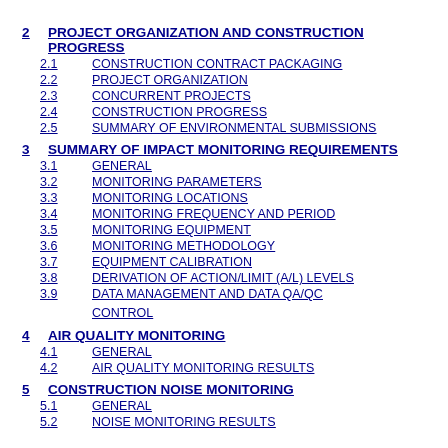2  PROJECT ORGANIZATION AND CONSTRUCTION PROGRESS
2.1  CONSTRUCTION CONTRACT PACKAGING
2.2  PROJECT ORGANIZATION
2.3  CONCURRENT PROJECTS
2.4  CONSTRUCTION PROGRESS
2.5  SUMMARY OF ENVIRONMENTAL SUBMISSIONS
3  SUMMARY OF IMPACT MONITORING REQUIREMENTS
3.1  GENERAL
3.2  MONITORING PARAMETERS
3.3  MONITORING LOCATIONS
3.4  MONITORING FREQUENCY AND PERIOD
3.5  MONITORING EQUIPMENT
3.6  MONITORING METHODOLOGY
3.7  EQUIPMENT CALIBRATION
3.8  DERIVATION OF ACTION/LIMIT (A/L) LEVELS
3.9  DATA MANAGEMENT AND DATA QA/QC CONTROL
4  AIR QUALITY MONITORING
4.1  GENERAL
4.2  AIR QUALITY MONITORING RESULTS
5  CONSTRUCTION NOISE MONITORING
5.1  GENERAL
5.2  NOISE MONITORING RESULTS